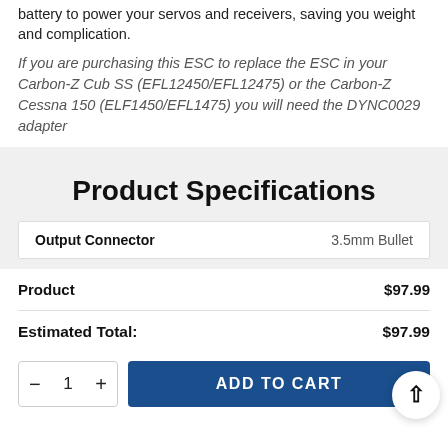battery to power your servos and receivers, saving you weight and complication.
If you are purchasing this ESC to replace the ESC in your Carbon-Z Cub SS (EFL12450/EFL12475) or the Carbon-Z Cessna 150 (ELF1450/EFL1475) you will need the DYNC0029 adapter
Product Specifications
| Output Connector |  |
| --- | --- |
| Output Connector | 3.5mm Bullet |
Product $97.99
Estimated Total: $97.99
- 1 + ADD TO CART